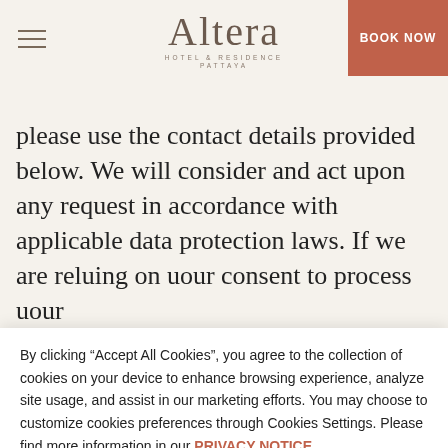Altera Hotel & Residence Pattaya | BOOK NOW
please use the contact details provided below. We will consider and act upon any request in accordance with applicable data protection laws. If we are relying on your consent to process your
By clicking “Accept All Cookies”, you agree to the collection of cookies on your device to enhance browsing experience, analyze site usage, and assist in our marketing efforts. You may choose to customize cookies preferences through Cookies Settings. Please find more information in our PRIVACY NOTICE.
Accept All